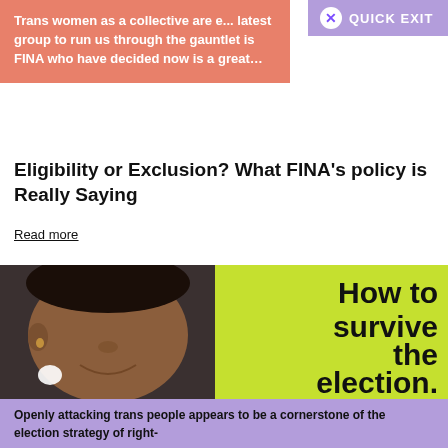[Figure (photo): Top portion of a person's torso/arms visible above salmon-colored card]
Trans women as a collective are e... latest group to run us through the gauntlet is FINA who have decided now is a great...
QUICK EXIT
Eligibility or Exclusion? What FINA's policy is Really Saying
Read more
[Figure (photo): Composite image: portrait of a smiling Black woman on lime-green background with bold text 'How to survive the election. Jade Barber']
Openly attacking trans people appears to be a cornerstone of the election strategy of right-